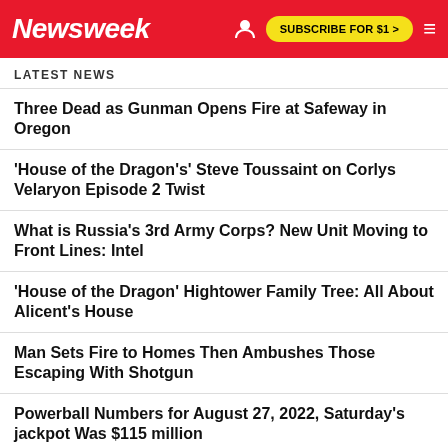Newsweek | SUBSCRIBE FOR $1 >
LATEST NEWS
Three Dead as Gunman Opens Fire at Safeway in Oregon
'House of the Dragon's' Steve Toussaint on Corlys Velaryon Episode 2 Twist
What is Russia's 3rd Army Corps? New Unit Moving to Front Lines: Intel
'House of the Dragon' Hightower Family Tree: All About Alicent's House
Man Sets Fire to Homes Then Ambushes Those Escaping With Shotgun
Powerball Numbers for August 27, 2022, Saturday's jackpot Was $115 million